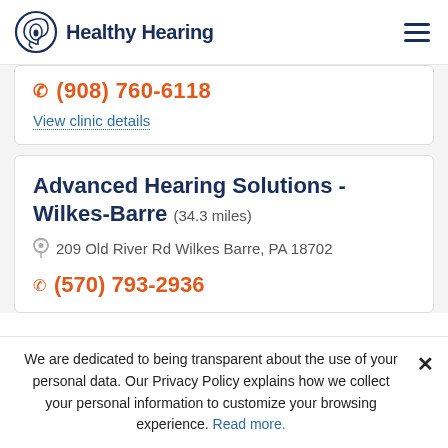Healthy Hearing
(908) 760-6118
View clinic details
Advanced Hearing Solutions - Wilkes-Barre (34.3 miles)
209 Old River Rd Wilkes Barre, PA 18702
(570) 793-2936
We are dedicated to being transparent about the use of your personal data. Our Privacy Policy explains how we collect your personal information to customize your browsing experience. Read more.